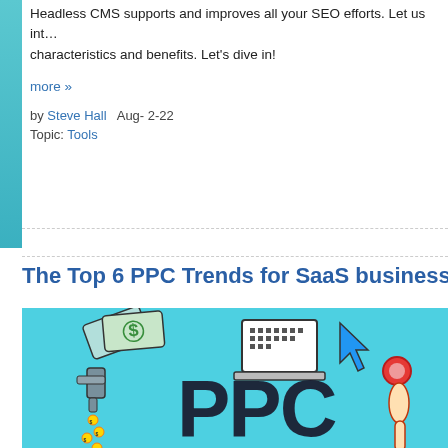Headless CMS supports and improves all your SEO efforts. Let us int… characteristics and benefits. Let's dive in!
more »
by Steve Hall   Aug- 2-22
Topic: Tools
The Top 6 PPC Trends for SaaS businesses
[Figure (illustration): Colorful illustration on a cyan background showing PPC concept with dollar bills, a laptop, a cursor arrow, a faucet dripping coins, large 'PPC' text, and a hand pressing a button.]